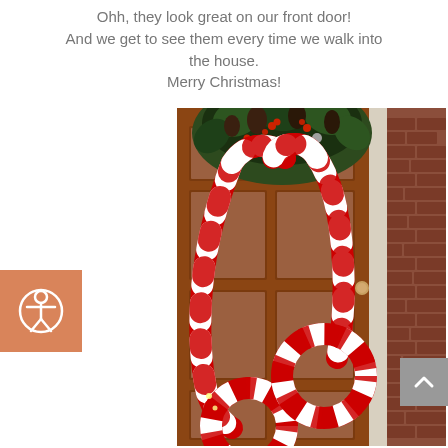Ohh, they look great on our front door! And we get to see them every time we walk into the house. Merry Christmas!
[Figure (photo): Photo of a front door decorated with large red and white striped candy cane decorations and a wreath with pinecones and greenery at the top. Brick wall visible on the right side.]